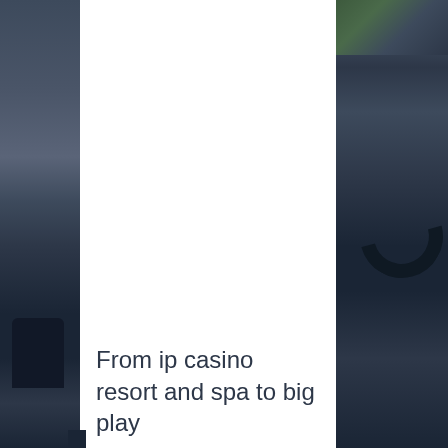[Figure (photo): Left side: partial photo of dark automotive/vehicle interior or equipment in dark blue-gray tones. Right side: partial photo of dark gray surface with a hook or handle shape visible, with some green foliage visible at the top right corner. Center: white background panel.]
From ip casino resort and spa to big play